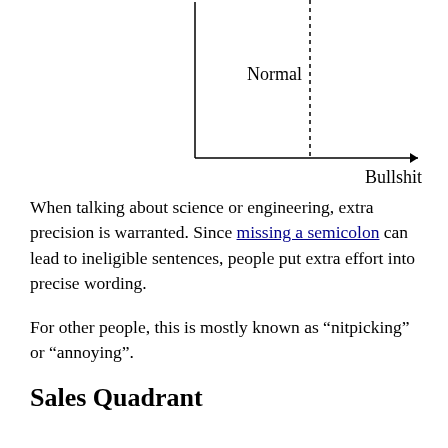[Figure (other): A partial quadrant diagram showing an L-shaped axis. The vertical axis goes up and the horizontal axis goes right labeled 'Bullshit'. A vertical dotted line divides the space. The label 'Normal' appears in the upper-left quadrant.]
When talking about science or engineering, extra precision is warranted. Since missing a semicolon can lead to ineligible sentences, people put extra effort into precise wording.
For other people, this is mostly known as “nitpicking” or “annoying”.
Sales Quadrant